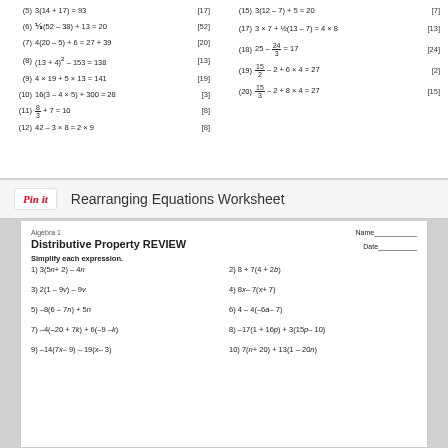(5) 3(14 + 17) = 93   [17]
(6) 1/3(52 - 38) + 13 = 20   [52]
(7) 4(20 - 5) + 6 = 27 + 39   [20]
(8) (13 + 4)^2 - 153 = 138   [13]
(9) 4 x 19 + 5 x 13 = 141   [19]
(10) 16(3 - 4 x 5) + 300 = 28   [3]
(11) 8/3 + 7 = 10   [8]
(12) 42 - 3 x 8 = 2 x 9   [8]
(15) 3(12 - 7) + 5 = 20   [7]
(17) 3 x 7 + 1/2(13 - 7) = 4 x 8   [13]
(18) 25 - 24/3 = 17   [24]
(19) 15/2 - 2 + 6 x 4 = 27   [2]
(20) 15/3 - 2 + 8 x 4 = 27   [15]
[Figure (logo): Pinterest Pin it button followed by text: Rearranging Equations Worksheet]
Algebra 1
Distributive Property REVIEW
Name___________
Date__________
Simplify each expression.
1) 3(5n + 2) - 4n
2) 8 + 7(4 + 2b)
3) 2(1 - 9v) - 9v
4) 8x - 7(x + 7)
5) -8(6 - 7n) + 5n
6) 4 - 4(-6a - 7)
7) -4(-20 + 7k) + 6(-9 - k)
8) -17(1 + 16p) + 3(15p - 10)
9) -14(7x - 9) - 19(x - 3)
10) 7(n + 20) + 13(1 - 20n)